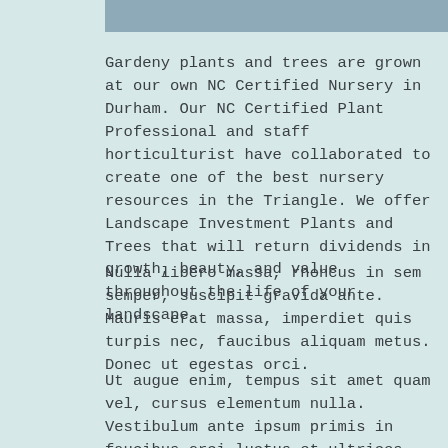[Figure (other): Gray-blue horizontal bar at top of page]
Gardeny plants and trees are grown at our own NC Certified Nursery in Durham. Our NC Certified Plant Professional and staff horticulturist have collaborated to create one of the best nursery resources in the Triangle. We offer Landscape Investment Plants and Trees that will return dividends in growth, beauty, and value throughout the life of your landscape.
Nulla libero massa, rhoncus in sem semper, suscipit gravida ante. Mauris erat massa, imperdiet quis turpis nec, faucibus aliquam metus. Donec ut egestas orci.
Ut augue enim, tempus sit amet quam vel, cursus elementum nulla. Vestibulum ante ipsum primis in faucibus orci luctus et ultrices posuere cubilia Curae. Etiam ac metus ac enim egestas